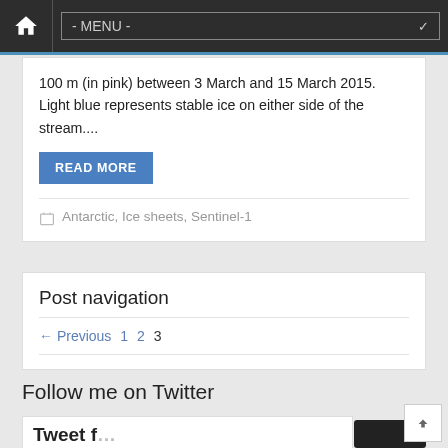- MENU -
100 m (in pink) between 3 March and 15 March 2015. Light blue represents stable ice on either side of the stream....
READ MORE
Antarctic, Ice sheets, Sentinel-1
Post navigation
← Previous 1 2 3
Follow me on Twitter